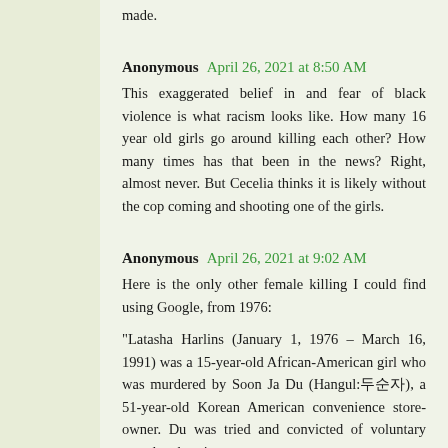made.
Anonymous  April 26, 2021 at 8:50 AM
This exaggerated belief in and fear of black violence is what racism looks like. How many 16 year old girls go around killing each other? How many times has that been in the news? Right, almost never. But Cecelia thinks it is likely without the cop coming and shooting one of the girls.
Anonymous  April 26, 2021 at 9:02 AM
Here is the only other female killing I could find using Google, from 1976:
"Latasha Harlins (January 1, 1976 – March 16, 1991) was a 15-year-old African-American girl who was murdered by Soon Ja Du (Hangul:두순자), a 51-year-old Korean American convenience store-owner. Du was tried and convicted of voluntary manslaughter in